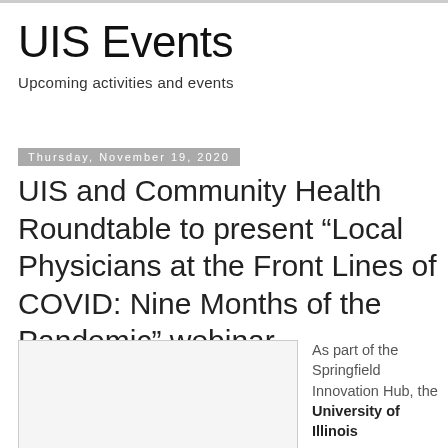UIS Events
Upcoming activities and events
Thursday, November 19, 2020
UIS and Community Health Roundtable to present “Local Physicians at the Front Lines of COVID: Nine Months of the Pandemic” webinar
[Figure (photo): Event image placeholder box]
As part of the Springfield Innovation Hub, the University of Illinois